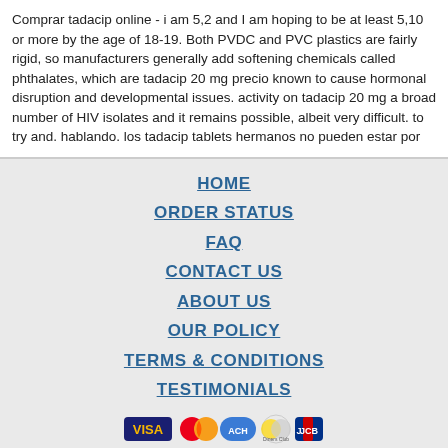Comprar tadacip online - i am 5,2 and I am hoping to be at least 5,10 or more by the age of 18-19. Both PVDC and PVC plastics are fairly rigid, so manufacturers generally add softening chemicals called phthalates, which are tadacip 20 mg precio known to cause hormonal disruption and developmental issues. activity on tadacip 20 mg a broad number of HIV isolates and it remains possible, albeit very difficult. to try and. hablando. los tadacip tablets hermanos no pueden estar por
HOME
ORDER STATUS
FAQ
CONTACT US
ABOUT US
OUR POLICY
TERMS & CONDITIONS
TESTIMONIALS
[Figure (logo): Payment method icons: VISA, MasterCard, ACH, Diners Club, JCB]
[Figure (logo): Shipping method icons: Registered Airmail, EMS, USPS, Royal Mail, Deutsche Post]